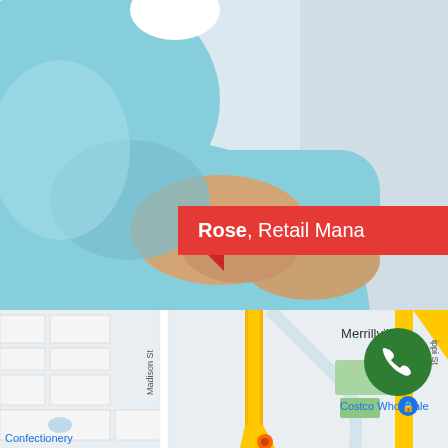[Figure (photo): Close-up photo of a person wearing a light blue t-shirt with arms crossed, photographed from chin to waist. Background is light gray/blue.]
Rose, Retail Mana…
[Figure (map): Google Maps screenshot showing Merrillville area with streets including Madison St, yellow highways, Costco Wholesale label, Confectionery label, and partial ippi St label on the right edge.]
[Figure (other): Green circular phone/call button with white phone icon, overlaid on map section.]